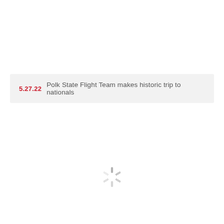5.27.22  Polk State Flight Team makes historic trip to nationals
[Figure (other): Loading spinner graphic — a circular arrangement of short radial lines in varying shades of gray/black indicating a loading animation]